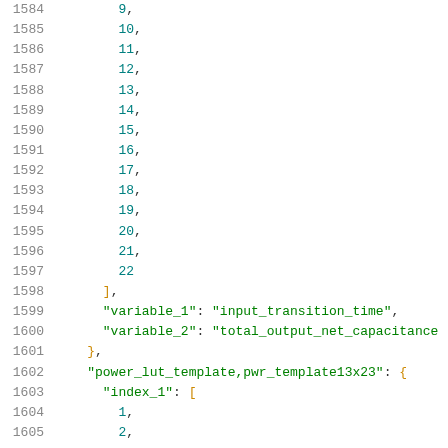Code listing lines 1584-1605 showing JSON structure with numeric array values and variable_1, variable_2 keys, and power_lut_template definition